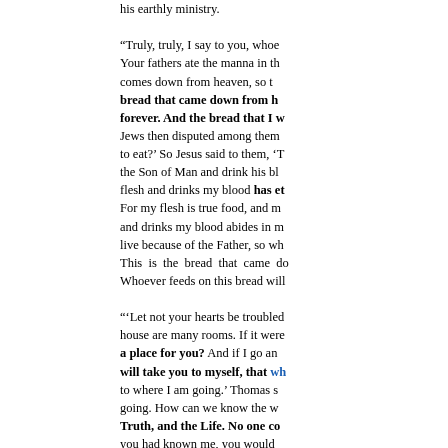his earthly ministry. "Truly, truly, I say to you, whoe... Your fathers ate the manna in th... comes down from heaven, so t... bread that came down from h... forever. And the bread that I w... Jews then disputed among them... to eat?' So Jesus said to them, '... the Son of Man and drink his bl... flesh and drinks my blood has et... For my flesh is true food, and m... and drinks my blood abides in m... live because of the Father, so wh... This is the bread that came do... Whoever feeds on this bread will... "'Let not your hearts be troubled... house are many rooms. If it were... a place for you? And if I go a... will take you to myself, that wh... to where I am going.' Thomas s... going. How can we know the w... Truth, and the Life. No one co... you had known me, you would... know him and have seen him.'"